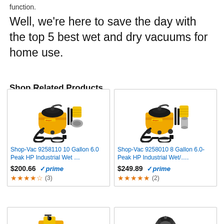function.
Well, we're here to save the day with the top 5 best wet and dry vacuums for home use.
Shop Related Products
[Figure (photo): Shop-Vac 9258110 10 Gallon 6.0 Peak HP Industrial Wet vacuum with accessories]
[Figure (photo): Shop-Vac 9258010 8 Gallon 6.0-Peak HP Industrial Wet/Dry vacuum with accessories]
[Figure (photo): Yellow wet/dry vacuum cleaner, bottom row left]
[Figure (photo): Dark canister vacuum, bottom row right]